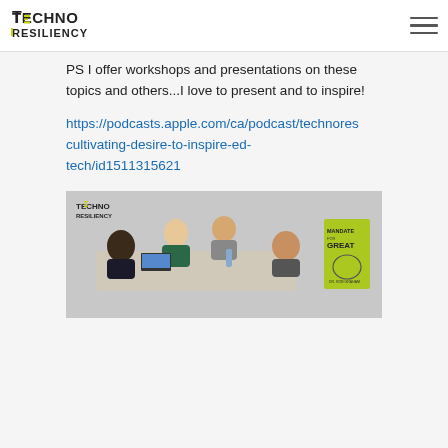TECHNO RESILIENCY
PS I offer workshops and presentations on these topics and others...I love to present and to inspire!
https://podcasts.apple.com/ca/podcast/technores cultivating-desire-to-inspire-ed-tech/id1511315621
[Figure (photo): Techno Resiliency branded image showing a group of professionals in a meeting around a table, with a laptop, and a book titled 'Mandate for Great' by Dr. Rob Graham visible on the right side.]